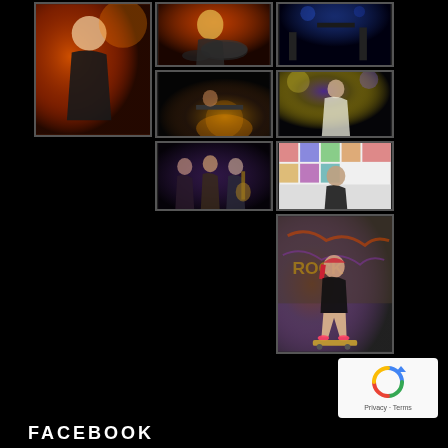[Figure (photo): Concert performer on stage, blonde hair, dramatic pose with bright stage lighting]
[Figure (photo): Blonde female drummer performing at concert with drums]
[Figure (photo): Band performing on dark stage with blue lighting and equipment visible]
[Figure (photo): Dark stage with spotlight, musician at keyboard/equipment]
[Figure (photo): Singer performing on stage in white outfit with dramatic lighting]
[Figure (photo): Band members posing together with guitar at event]
[Figure (photo): Person posing at press/sponsor backdrop wall event]
[Figure (photo): Young woman in black outfit standing on skateboard in front of graffiti wall]
FACEBOOK